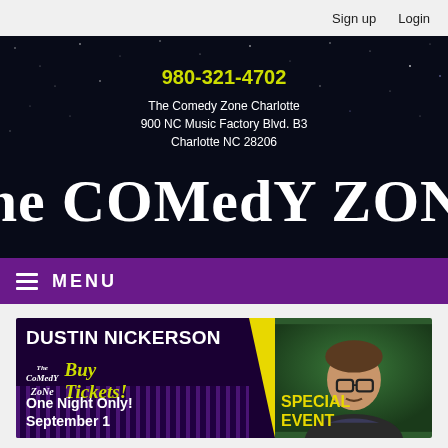Sign up   Login
[Figure (screenshot): The Comedy Zone Charlotte website header with starry night background, phone number 980-321-4702 in yellow, address text in white, and large decorative logo 'The COMedY ZONE']
MENU
[Figure (screenshot): Event promotional banner for Dustin Nickerson – One Night Only! September 1 – Special Event. Buy Tickets! at The Comedy Zone. Shows photo of performer with glasses on green background.]